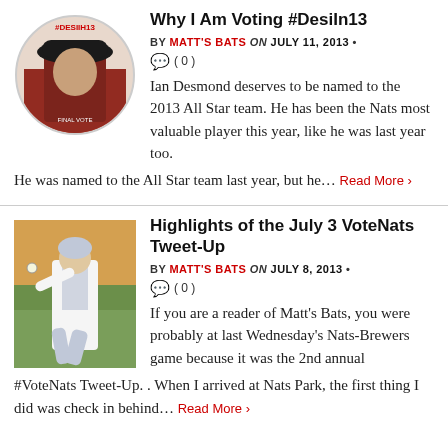[Figure (photo): Circular badge photo of Ian Desmond wearing a red Nationals cap with #DesiIn13 text on the badge]
Why I Am Voting #DesiIn13
BY MATT'S BATS on JULY 11, 2013 • ( 0 )
Ian Desmond deserves to be named to the 2013 All Star team. He has been the Nats most valuable player this year, like he was last year too.  He was named to the All Star team last year, but he... Read More ›
[Figure (photo): Photo of a Washington Nationals pitcher in white uniform mid-throw on the mound]
Highlights of the July 3 VoteNats Tweet-Up
BY MATT'S BATS on JULY 8, 2013 • ( 0 )
If you are a reader of Matt's Bats, you were probably at last Wednesday's Nats-Brewers game because it was the 2nd annual #VoteNats Tweet-Up. . When I arrived at Nats Park, the first thing I did was check in behind... Read More ›